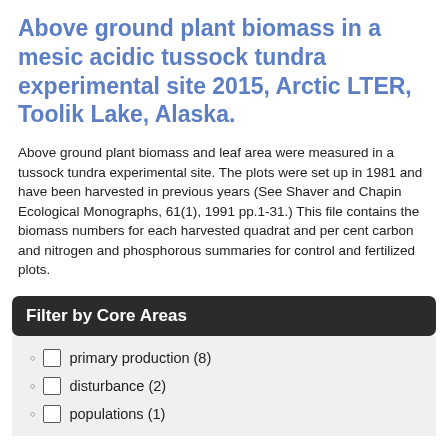Above ground plant biomass in a mesic acidic tussock tundra experimental site 2015, Arctic LTER, Toolik Lake, Alaska.
Above ground plant biomass and leaf area were measured in a tussock tundra experimental site. The plots were set up in 1981 and have been harvested in previous years (See Shaver and Chapin Ecological Monographs, 61(1), 1991 pp.1-31.) This file contains the biomass numbers for each harvested quadrat and per cent carbon and nitrogen and phosphorous summaries for control and fertilized plots.
Filter by Core Areas
primary production (8)
disturbance (2)
populations (1)
Filter by Keywords